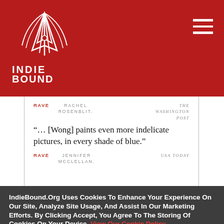[Figure (logo): IndieBound logo — white illustrated open book/quill on dark red background with INDIE BOUND text below]
RAVE   RACHEL ROSENBLIT.   THE WASHINGTON POST
“… [Wong] paints even more indelicate pictures, in every shade of blue.”
RAVE   JENNIFER MCCLELLAN.   USA TODAY
IndieBound.Org Uses Cookies To Enhance Your Experience On Our Site, Analyze Site Usage, And Assist In Our Marketing Efforts. By Clicking Accept, You Agree To The Storing Of Cookies On Your Device. View Our Cookie Policy.
Give me more info
Accept all Cookies